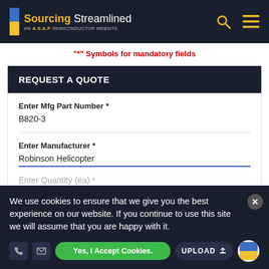Sourcing Streamlined — AN A.S.A.P SEMICONDUCTOR WEBSITE
"*" Symbols for mandatory fields
REQUEST A QUOTE
Enter Mfg Part Number *
B820-3
Enter Manufacturer *
Robinson Helicopter
Enter Quantity (ea) *
We use cookies to ensure that we give you the best experience on our website. If you continue to use this site we will assume that you are happy with it.